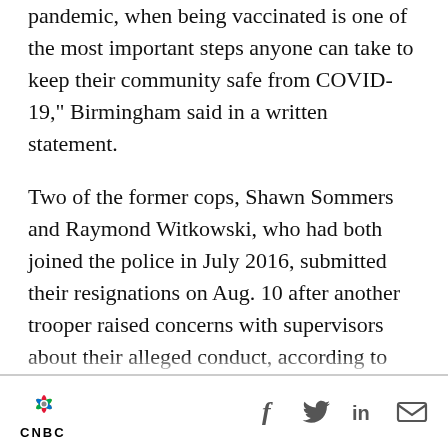pandemic, when being vaccinated is one of the most important steps anyone can take to keep their community safe from COVID-19," Birmingham said in a written statement.
Two of the former cops, Shawn Sommers and Raymond Witkowski, who had both joined the police in July 2016, submitted their resignations on Aug. 10 after another trooper raised concerns with supervisors about their alleged conduct, according to State Police.
The third ex-cop, David Pfindel, who had been hired in early 2014, resigned Friday after the internal probe by the State Police.
[Figure (logo): CNBC logo with colorful peacock feather graphic]
[Figure (infographic): Social media sharing icons: Facebook (f), Twitter (bird), LinkedIn (in), Email (envelope)]